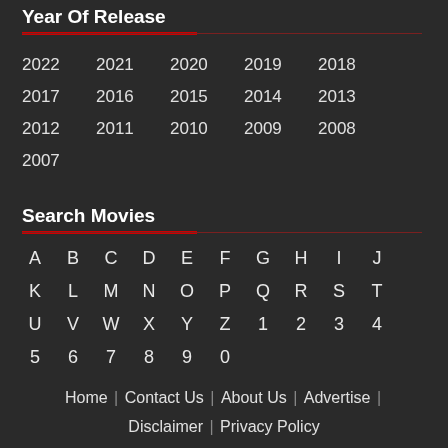Year Of Release
2022 2021 2020 2019 2018 2017 2016 2015 2014 2013 2012 2011 2010 2009 2008 2007
Search Movies
A B C D E F G H I J K L M N O P Q R S T U V W X Y Z 1 2 3 4 5 6 7 8 9 0
Home | Contact Us | About Us | Advertise | Disclaimer | Privacy Policy
Copyright © 2007-2022 FilmyTown | All Rights Reserved.
Powered By Ade Technologies